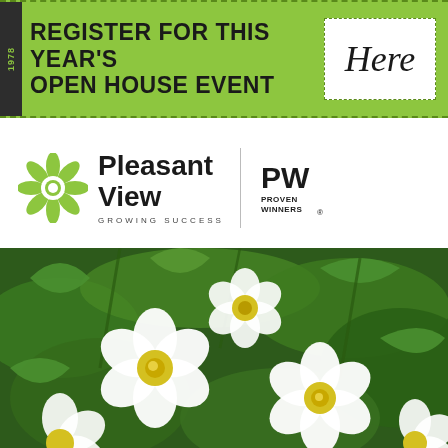[Figure (infographic): Green banner with dashed border reading REGISTER FOR THIS YEAR'S OPEN HOUSE EVENT with a white box containing cursive Here text, and a dark sidebar with 1978 text rotated vertically]
[Figure (logo): Pleasant View Growing Success logo with green daisy icon, vertical divider, and Proven Winners PW logo with hamburger menu icon]
[Figure (photo): Close-up photograph of white calibrachoa flowers with yellow centers surrounded by green foliage]